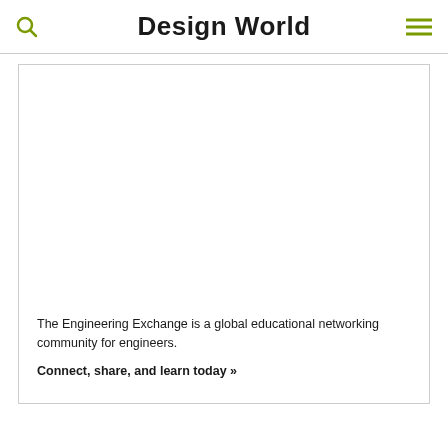Design World
[Figure (screenshot): Large white content area with border, representing a webpage image/advertisement area]
The Engineering Exchange is a global educational networking community for engineers.
Connect, share, and learn today »